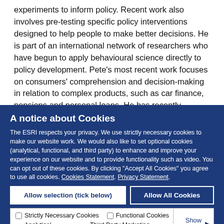experiments to inform policy. Recent work also involves pre-testing specific policy interventions designed to help people to make better decisions. He is part of an international network of researchers who have begun to apply behavioural science directly to policy development. Pete's most recent work focuses on consumers' comprehension and decision-making in relation to complex products, such as car finance, pensions and personal loans. He has recently expanded the work of the Behavioural Research Unit to investigate decisions and behaviours that affect environmental and major public health outcomes, including physical activity and diet.
A notice about Cookies
The ESRI respects your privacy. We use strictly necessary cookies to make our website work. We would also like to set optional cookies (analytical, functional, and third party) to enhance and improve your experience on our website and to provide functionality such as video. You can opt out of these cookies. By clicking "Accept All Cookies" you agree to use all cookies. Cookies Statement. Privacy Statement.